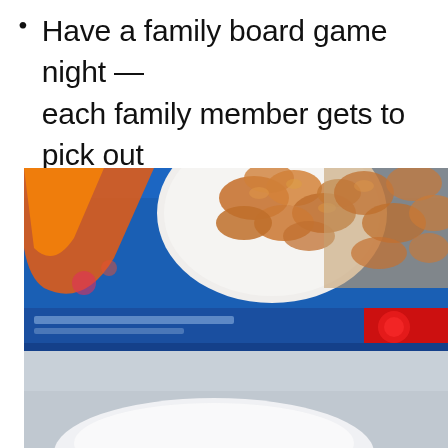Have a family board game night — each family member gets to pick out their favorite board games or card games to play.
[Figure (photo): A close-up photo of a blue box of frozen food (chicken nuggets or similar) with a plate of golden-brown cooked pieces visible on the packaging. The box is on a light gray/white surface with a white plate partially visible in the foreground.]